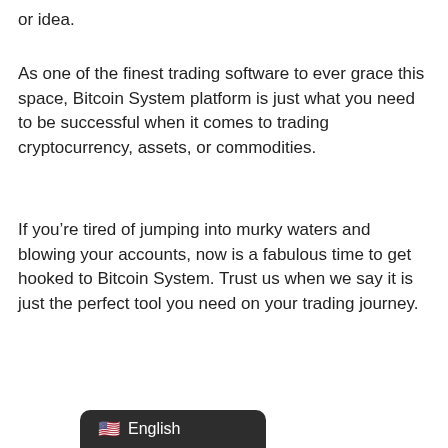or idea.
As one of the finest trading software to ever grace this space, Bitcoin System platform is just what you need to be successful when it comes to trading cryptocurrency, assets, or commodities.
If you’re tired of jumping into murky waters and blowing your accounts, now is a fabulous time to get hooked to Bitcoin System. Trust us when we say it is just the perfect tool you need on your trading journey.
[Figure (screenshot): Language selector button showing US flag emoji and 'English' text on dark rounded rectangle background]